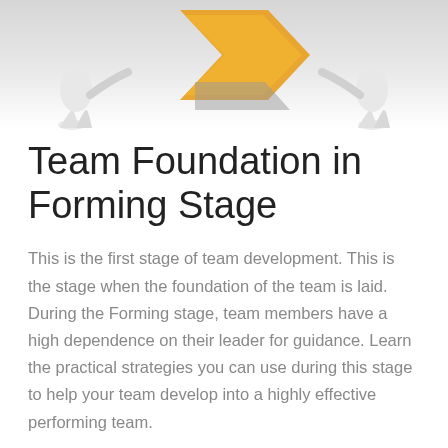[Figure (illustration): 3D white figurines pushing or carrying large orange and grey puzzle pieces on a white/grey background. Partial view showing the top portion of the illustration.]
Team Foundation in Forming Stage
This is the first stage of team development. This is the stage when the foundation of the team is laid. During the Forming stage, team members have a high dependence on their leader for guidance. Learn the practical strategies you can use during this stage to help your team develop into a highly effective performing team.